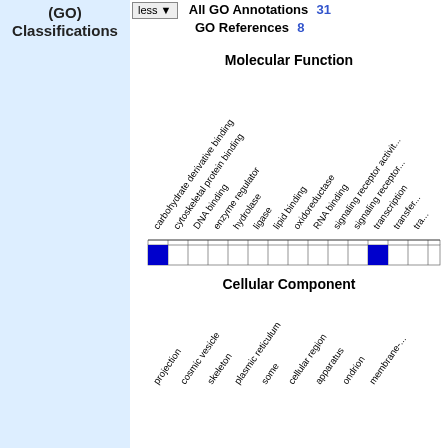(GO) Classifications
less  All GO Annotations 31  GO References 8
Molecular Function
[Figure (bar-chart): Bar chart showing GO Molecular Function annotations. Categories include carbohydrate derivative binding, cytoskeletal protein binding, DNA binding, enzyme regulator, hydrolase, ligase, lipid binding, oxidoreductase, RNA binding, signaling receptor activit, signaling receptor..., transcription, transfer... Filled blue bars at carbohydrate derivative binding and signaling receptor activity positions.]
Cellular Component
[Figure (bar-chart): Bar chart showing GO Cellular Component annotations. Partial view showing categories including projection, cosmic vesicle, skeleton, plasmic reticulum, some, cellular region, apparatus, ondrion, membrane-...]